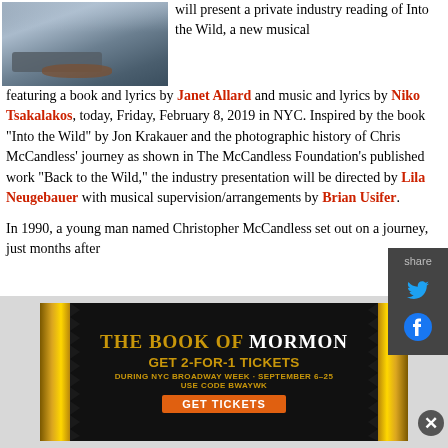[Figure (photo): Outdoor snowy scene with logs or machinery]
will present a private industry reading of Into the Wild, a new musical featuring a book and lyrics by Janet Allard and music and lyrics by Niko Tsakalakos, today, Friday, February 8, 2019 in NYC. Inspired by the book "Into the Wild" by Jon Krakauer and the photographic history of Chris McCandless' journey as shown in The McCandless Foundation's published work "Back to the Wild," the industry presentation will be directed by Lila Neugebauer with musical supervision/arrangements by Brian Usifer.
In 1990, a young man named Christopher McCandless set out on a journey, just months after
[Figure (infographic): Advertisement for The Book of Mormon musical - GET 2-FOR-1 TICKETS DURING NYC BROADWAY WEEK · SEPTEMBER 6-25 USE CODE BWAYWK GET TICKETS]